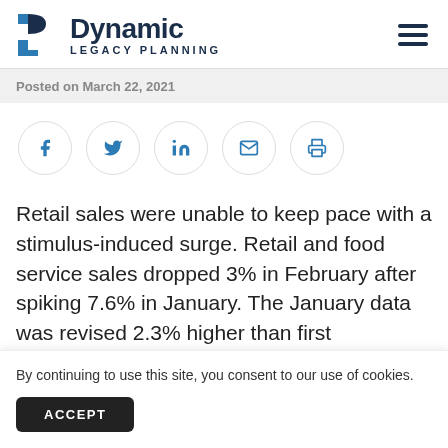Dynamic Legacy Planning
Posted on March 22, 2021
[Figure (illustration): Social sharing icons: Facebook, Twitter, LinkedIn, Email, Print]
Retail sales were unable to keep pace with a stimulus-induced surge. Retail and food service sales dropped 3% in February after spiking 7.6% in January. The January data was revised 2.3% higher than first re...
By continuing to use this site, you consent to our use of cookies.